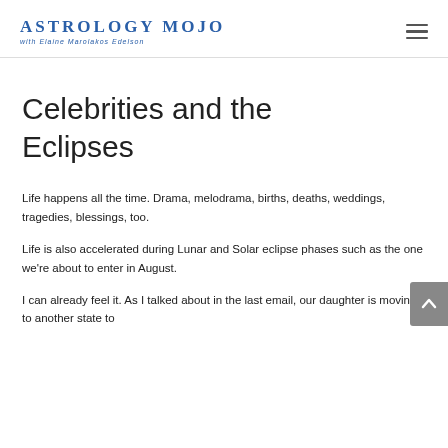Astrology Mojo with Elaine Marolakos Edelson
Celebrities and the Eclipses
Life happens all the time. Drama, melodrama, births, deaths, weddings, tragedies, blessings, too.
Life is also accelerated during Lunar and Solar eclipse phases such as the one we're about to enter in August.
I can already feel it. As I talked about in the last email, our daughter is moving to another state to